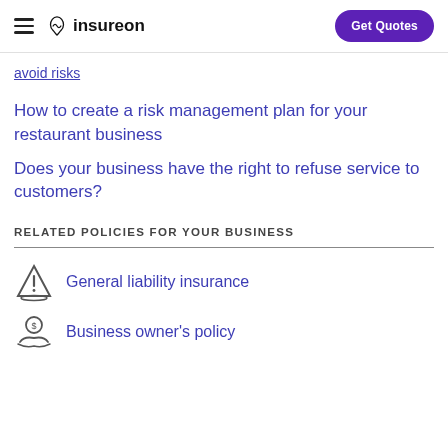Insureon — Get Quotes
avoid risks
How to create a risk management plan for your restaurant business
Does your business have the right to refuse service to customers?
RELATED POLICIES FOR YOUR BUSINESS
General liability insurance
Business owner's policy